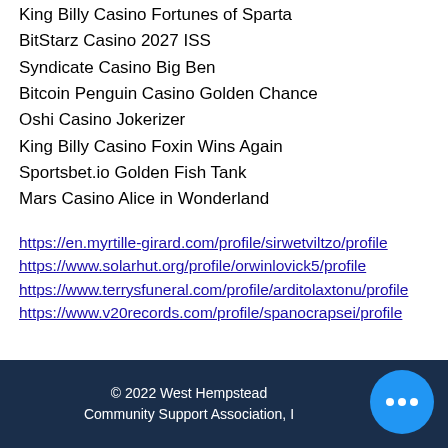King Billy Casino Fortunes of Sparta
BitStarz Casino 2027 ISS
Syndicate Casino Big Ben
Bitcoin Penguin Casino Golden Chance
Oshi Casino Jokerizer
King Billy Casino Foxin Wins Again
Sportsbet.io Golden Fish Tank
Mars Casino Alice in Wonderland
https://en.myrtille-girard.com/profile/sirwetviltzo/profile
https://www.solarhut.org/profile/orwinlovick5/profile
https://www.terrysfuneral.com/profile/arditolaxtonu/profile
https://www.v20records.com/profile/spanocrapsei/profile
© 2022 West Hempstead Community Support Association, I...